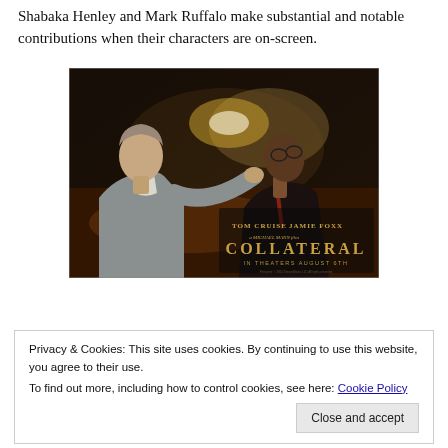Shabaka Henley and Mark Ruffalo make substantial and notable contributions when their characters are on-screen.
[Figure (photo): Movie poster / promotional image for 'Collateral' featuring Tom Cruise and Jamie Foxx. One man in a gray suit grabs another man by the throat. Text overlay reads: TOM CRUISE JAMIE FOXX in a MICHAEL MANN film COLLATERAL IN THEATERS AUGUST 6TH.]
Privacy & Cookies: This site uses cookies. By continuing to use this website, you agree to their use.
To find out more, including how to control cookies, see here: Cookie Policy
Close and accept